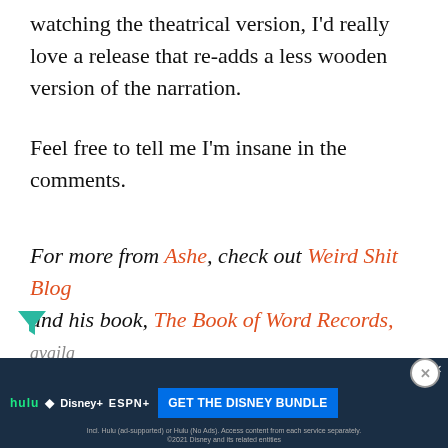watching the theatrical version, I'd really love a release that re-adds a less wooden version of the narration.
Feel free to tell me I'm insane in the comments.
For more from Ashe, check out Weird Shit Blog and his book, The Book of Word Records,
availa...
[Figure (other): Advertisement banner for the Disney Bundle featuring Hulu, Disney+, and ESPN+ logos with a blue 'GET THE DISNEY BUNDLE' call-to-action button and fine print text]